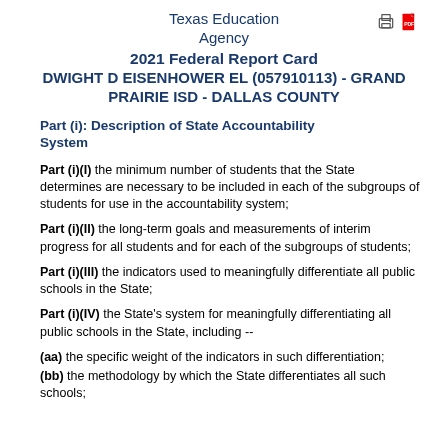Texas Education Agency
2021 Federal Report Card
DWIGHT D EISENHOWER EL (057910113) - GRAND PRAIRIE ISD - DALLAS COUNTY
Part (i): Description of State Accountability System
Part (i)(I) the minimum number of students that the State determines are necessary to be included in each of the subgroups of students for use in the accountability system;
Part (i)(II) the long-term goals and measurements of interim progress for all students and for each of the subgroups of students;
Part (i)(III) the indicators used to meaningfully differentiate all public schools in the State;
Part (i)(IV) the State's system for meaningfully differentiating all public schools in the State, including --
(aa) the specific weight of the indicators in such differentiation;
(bb) the methodology by which the State differentiates all such schools;